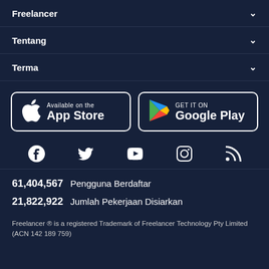Freelancer
Tentang
Terma
[Figure (screenshot): App Store and Google Play store buttons]
[Figure (infographic): Social media icons: Facebook, Twitter, YouTube, Instagram, RSS]
61,404,567 Pengguna Berdaftar
21,822,922 Jumlah Pekerjaan Disiarkan
Freelancer ® is a registered Trademark of Freelancer Technology Pty Limited (ACN 142 189 759)